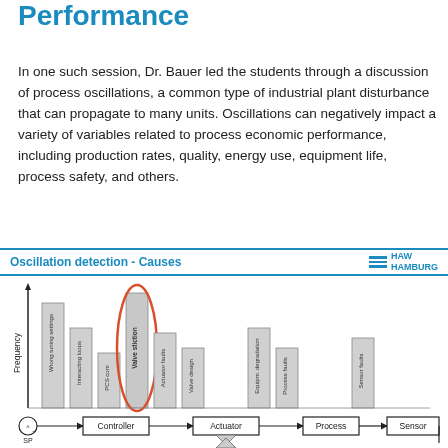Performance
In one such session, Dr. Bauer led the students through a discussion of process oscillations, a common type of industrial plant disturbance that can propagate to many units. Oscillations can negatively impact a variety of variables related to process economic performance, including production rates, quality, energy use, equipment life, process safety, and others.
Oscillation detection - Causes
[Figure (engineering-diagram): Block diagram showing oscillation causes: bar chart of causes (Wrong tuning settings, Interacting loops, PCS com, Valve stiction [highlighted with red ellipse], Actuator faults, Valve design, Equipm. degradation, Process faults, Sensor faults) arranged by frequency above a control loop diagram: SP -> Controller -> Actuator -> Process -> Sensor (feedback loop)]